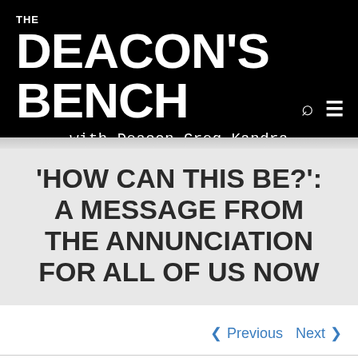THE DEACON'S BENCH with Deacon Greg Kandra
'HOW CAN THIS BE?': A MESSAGE FROM THE ANNUNCIATION FOR ALL OF US NOW
< Previous   Next >